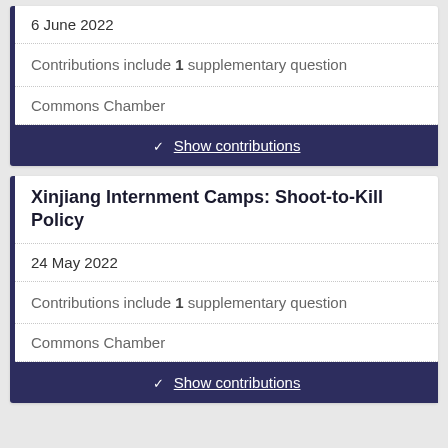6 June 2022
Contributions include 1 supplementary question
Commons Chamber
Show contributions
Xinjiang Internment Camps: Shoot-to-Kill Policy
24 May 2022
Contributions include 1 supplementary question
Commons Chamber
Show contributions